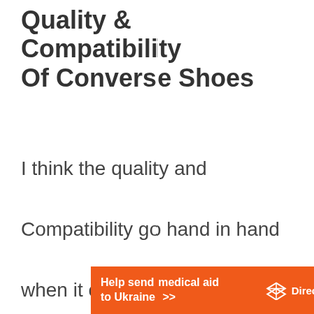Quality & Compatibility Of Converse Shoes
I think the quality and Compatibility go hand in hand when it comes to converse shoes. Converse has massive popularity within the new
[Figure (other): Orange advertisement banner for Direct Relief reading 'Help send medical aid to Ukraine >>' with Direct Relief logo]